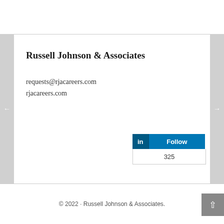Russell Johnson & Associates
requests@rjacareers.com
rjacareers.com
[Figure (other): LinkedIn Follow button widget showing 325 followers]
© 2022 · Russell Johnson & Associates.